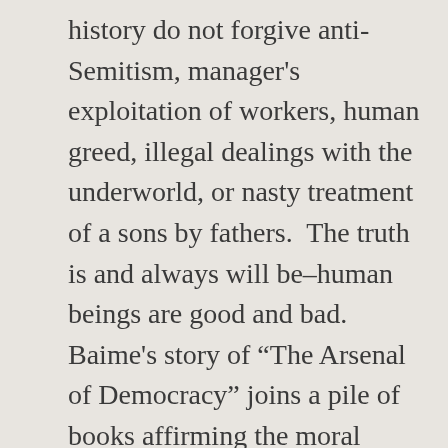history do not forgive anti-Semitism, manager's exploitation of workers, human greed, illegal dealings with the underworld, or nasty treatment of a sons by fathers.  The truth is and always will be–human beings are good and bad.  Baime's story of “The Arsenal of Democracy” joins a pile of books affirming the moral duality of humankind.